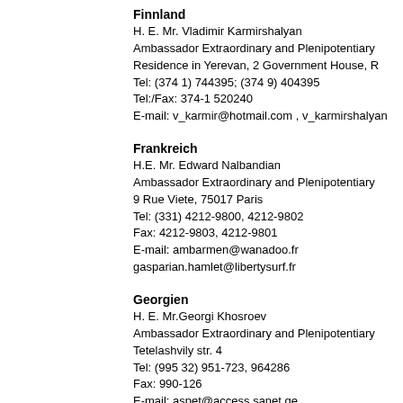Finnland
H. E. Mr. Vladimir Karmirshalyan
Ambassador Extraordinary and Plenipotentiary
Residence in Yerevan, 2 Government House, R
Tel: (374 1) 744395; (374 9) 404395
Tel:/Fax: 374-1 520240
E-mail: v_karmir@hotmail.com , v_karmirshalyan
Frankreich
H.E. Mr. Edward Nalbandian
Ambassador Extraordinary and Plenipotentiary
9 Rue Viete, 75017 Paris
Tel: (331) 4212-9800, 4212-9802
Fax: 4212-9803, 4212-9801
E-mail: ambarmen@wanadoo.fr
gasparian.hamlet@libertysurf.fr
Georgien
H. E. Mr.Georgi Khosroev
Ambassador Extraordinary and Plenipotentiary
Tetelashvily str. 4
Tel: (995 32) 951-723, 964286
Fax: 990-126
E-mail: aspet@access.sanet.ge